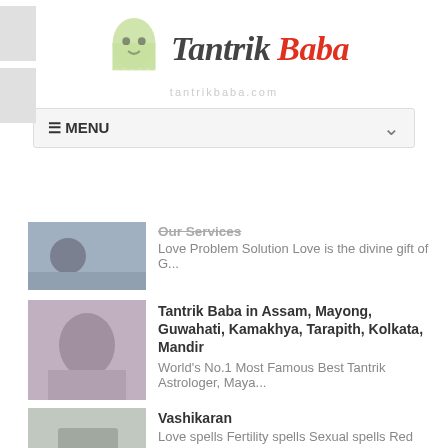[Figure (logo): Tantrik Baba logo with ghost icon and stylized text]
≡ MENU
Our Services
Love Problem Solution Love is the divine gift of G...
Tantrik Baba in Assam, Mayong, Guwahati, Kamakhya, Tarapith, Kolkata, Mandir
World's No.1 Most Famous Best Tantrik Astrologer, Maya...
Vashikaran
Love spells Fertility spells Sexual spells Red mag...
Check Reviews On YouTube Comments